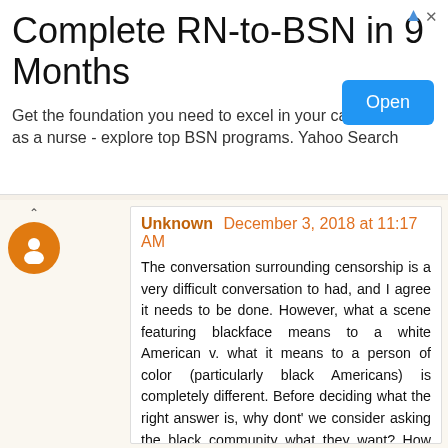[Figure (screenshot): Advertisement banner: Complete RN-to-BSN in 9 Months. Get the foundation you need to excel in your career as a nurse - explore top BSN programs. Yahoo Search. Open button.]
Unknown  December 3, 2018 at 11:17 AM

The conversation surrounding censorship is a very difficult conversation to had, and I agree it needs to be done. However, what a scene featuring blackface means to a white American v. what it means to a person of color (particularly black Americans) is completely different. Before deciding what the right answer is, why dont' we consider asking the black community what they want? How can the white community possibly understand the significance and potential alienation these scenes can make people feel?

To your point that Bing Crosby was "far from racist." Stupid is as stupid does. Regardless of whether or not he had black friends and helped his black musician friends succeed, he can still and did behave as a racist. Can we accept that the times were different? I guess, but you still have to call it like it is and be able to discuss why what he did was not okay.